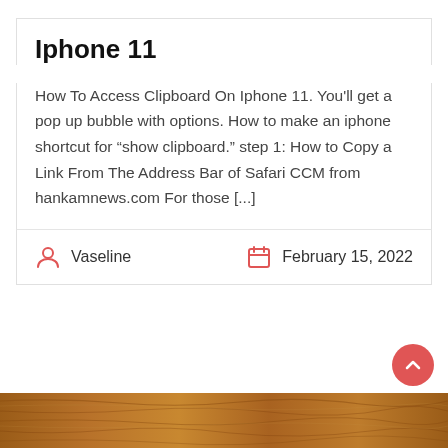Iphone 11
How To Access Clipboard On Iphone 11. You'll get a pop up bubble with options. How to make an iphone shortcut for “show clipboard.” step 1: How to Copy a Link From The Address Bar of Safari CCM from hankamnews.com For those [...]
Vaseline
February 15, 2022
[Figure (photo): Wood grain texture strip at bottom of page]